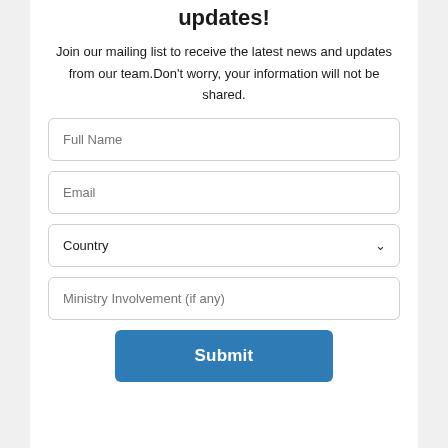updates!
Join our mailing list to receive the latest news and updates from our team.Don't worry, your information will not be shared.
Full Name
Email
Country
Ministry Involvement (if any)
Submit